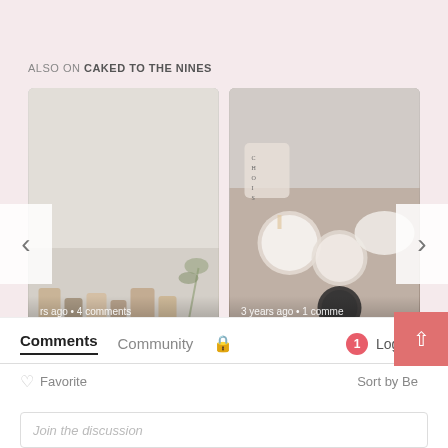ALSO ON CAKED TO THE NINES
[Figure (photo): Carousel card showing skincare products with text overlay: 'rs ago • 4 comments' and 'My Most Used Products of 2018: Skincare']
[Figure (photo): Carousel card showing beauty flatlay with candles and cosmetics, text overlay: '3 years ago • 1 comme' and 'Recommendation | Ebates Is Doing 20% ...']
Comments  Community  🔒  1  Login
♡ Favorite  Sort by Best
Join the discussion